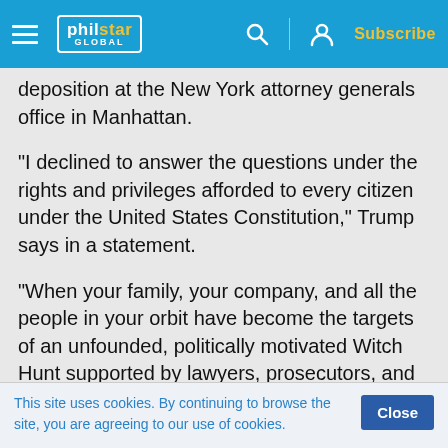philstar GLOBAL — Subscribe
deposition at the New York attorney generals office in Manhattan.
"I declined to answer the questions under the rights and privileges afforded to every citizen under the United States Constitution," Trump says in a statement.
"When your family, your company, and all the people in your orbit have become the targets of an unfounded, politically motivated Witch Hunt supported by lawyers, prosecutors, and the Fake
This site uses cookies. By continuing to browse the site, you are agreeing to our use of cookies.